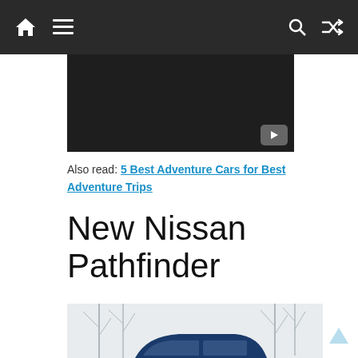Navigation bar with home, menu, search, and random icons
[Figure (screenshot): Dark video banner placeholder with play button icon]
Also read: 5 Best Adventure Cars for Best Adventure Trips
New Nissan Pathfinder
[Figure (photo): Blue Nissan Pathfinder SUV parked in a snowy winter landscape with bare trees in background]